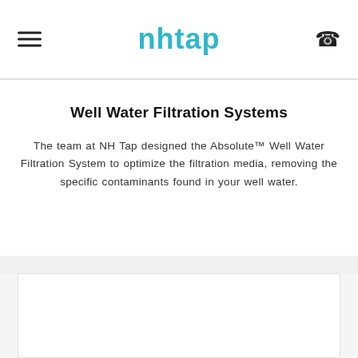nhtap
Well Water Filtration Systems
The team at NH Tap designed the Absolute™ Well Water Filtration System to optimize the filtration media, removing the specific contaminants found in your well water.